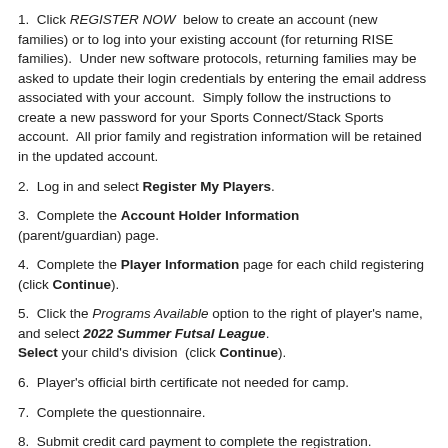1.  Click REGISTER NOW below to create an account (new families) or to log into your existing account (for returning RISE families).  Under new software protocols, returning families may be asked to update their login credentials by entering the email address associated with your account.  Simply follow the instructions to create a new password for your Sports Connect/Stack Sports account.  All prior family and registration information will be retained in the updated account.
2.  Log in and select Register My Players.
3.  Complete the Account Holder Information (parent/guardian) page.
4.  Complete the Player Information page for each child registering (click Continue).
5.  Click the Programs Available option to the right of player's name, and select 2022 Summer Futsal League. Select your child's division  (click Continue).
6.  Player's official birth certificate not needed for camp.
7.  Complete the questionnaire.
8.  Submit credit card payment to complete the registration.